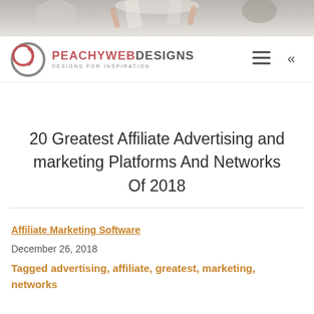[Figure (photo): Hero image at top of page showing hands and objects on white background]
PEACHY WEB DESIGNS — DESIGNS FOR INSPIRATION — navigation hamburger menu and back chevron
20 Greatest Affiliate Advertising and marketing Platforms And Networks Of 2018
Affiliate Marketing Software
December 26, 2018
Tagged advertising, affiliate, greatest, marketing, networks